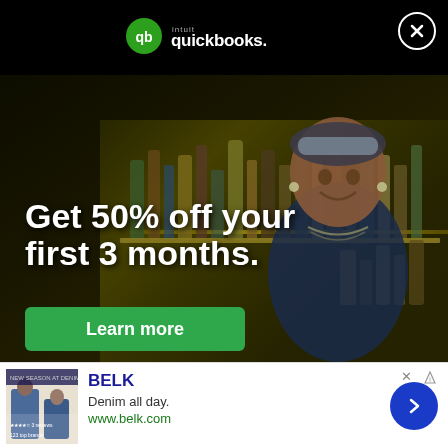[Figure (photo): Intuit QuickBooks advertisement banner with a bartender woman smiling in front of a bar with bottles on shelves. Dark background. Text overlay reads 'Get 50% off your first 3 months.' with a green 'Learn more' button. QuickBooks logo at top center. Close button at top right.]
Get 50% off your first 3 months.
Learn more
[Figure (infographic): Belk advertisement banner at bottom. Shows Belk logo, 'Denim all day.' text, www.belk.com URL, thumbnail image of women in denim clothing, and a blue arrow button on the right.]
BELK
Denim all day.
www.belk.com